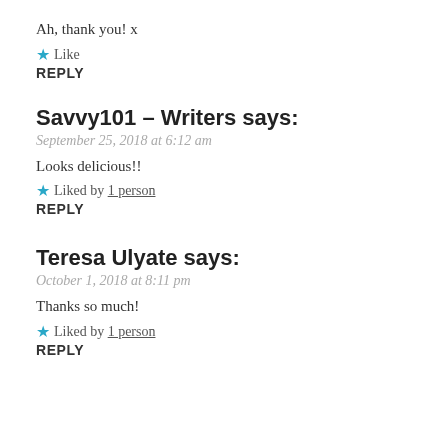Ah, thank you! x
★ Like
REPLY
Savvy101 - Writers says:
September 25, 2018 at 6:12 am
Looks delicious!!
★ Liked by 1 person
REPLY
Teresa Ulyate says:
October 1, 2018 at 8:11 pm
Thanks so much!
★ Liked by 1 person
REPLY